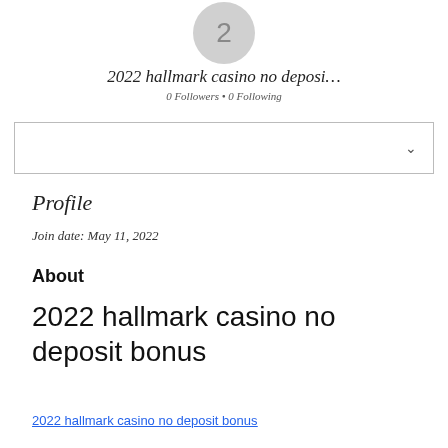[Figure (illustration): Gray circular avatar with the number 2 inside]
2022 hallmark casino no deposi…
0 Followers • 0 Following
[Figure (screenshot): Dropdown/selector box with a chevron arrow on the right]
Profile
Join date: May 11, 2022
About
2022 hallmark casino no deposit bonus
2022 hallmark casino no deposit bonus